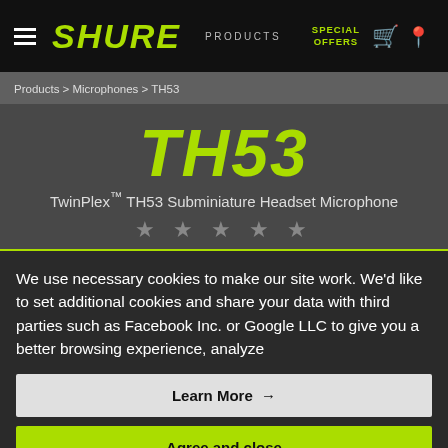SHURE | PRODUCTS | SPECIAL OFFERS
Products > Microphones > TH53
TH53
TwinPlex™ TH53 Subminiature Headset Microphone
★ ★ ★ ★ ★
We use necessary cookies to make our site work. We'd like to set additional cookies and share your data with third parties such as Facebook Inc. or Google LLC to give you a better browsing experience, analyze
Learn More →
Agree and close